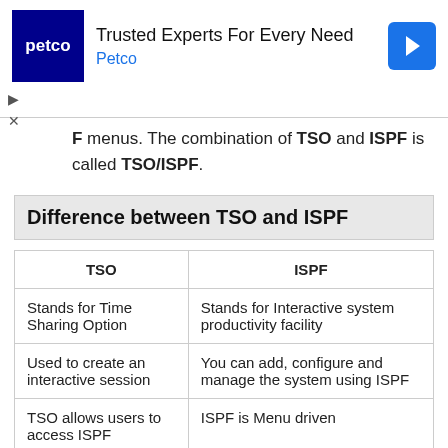[Figure (other): Petco advertisement banner with logo, headline 'Trusted Experts For Every Need', link 'Petco', and a blue navigation arrow icon. Navigation controls (play/close) shown below.]
F menus. The combination of TSO and ISPF is called TSO/ISPF.
Difference between TSO and ISPF
| TSO | ISPF |
| --- | --- |
| Stands for Time Sharing Option | Stands for Interactive system productivity facility |
| Used to create an interactive session | You can add, configure and manage the system using ISPF |
| TSO allows users to access ISPF | ISPF is Menu driven |